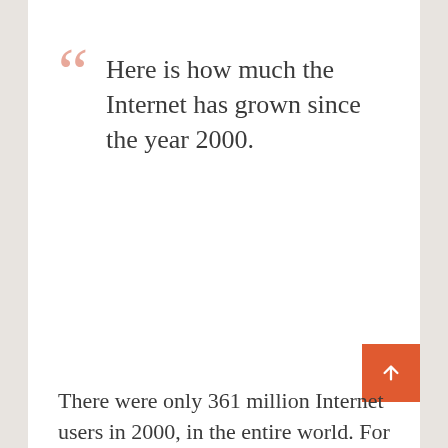“Here is how much the Internet has grown since the year 2000.
There were only 361 million Internet users in 2000, in the entire world. For